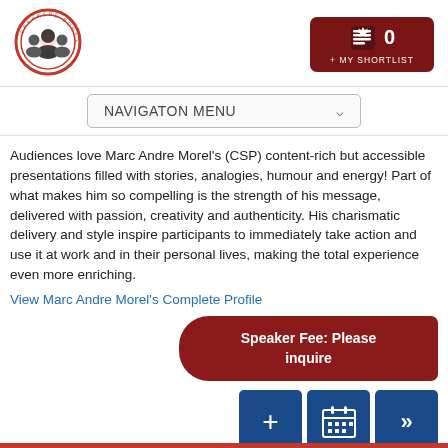[Figure (logo): Speakers Bureau of Canada circular logo with people silhouettes]
[Figure (other): My Shortlist button with red background, maple leaf icon and 0 count]
[Figure (other): Navigation menu dropdown]
Audiences love Marc Andre Morel's (CSP) content-rich but accessible presentations filled with stories, analogies, humour and energy! Part of what makes him so compelling is the strength of his message, delivered with passion, creativity and authenticity. His charismatic delivery and style inspire participants to immediately take action and use it at work and in their personal lives, making the total experience even more enriching.
View Marc Andre Morel's Complete Profile
Speaker Fee: Please inquire
[Figure (other): Three blue action buttons: add (+), calendar grid, and forward arrow (>>)]